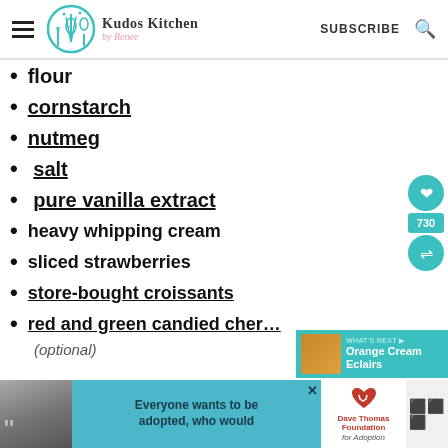Kudos Kitchen by Renee — SUBSCRIBE
flour
cornstarch
nutmeg
salt
pure vanilla extract
heavy whipping cream
sliced strawberries
store-bought croissants
red and green candied che...
(optional)
[Figure (screenshot): Advertisement banner at the bottom with a Wendy's charity adoption ad and Dave Thomas Foundation for Adoption logo]